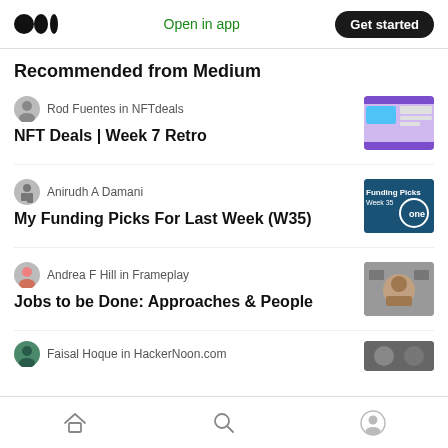Medium logo | Open in app | Get started
Recommended from Medium
Rod Fuentes in NFTdeals — NFT Deals | Week 7 Retro
Anirudh A Damani — My Funding Picks For Last Week (W35)
Andrea F Hill in Frameplay — Jobs to be Done: Approaches & People
Faisal Hoque in HackerNoon.com
Home | Search | Profile navigation icons